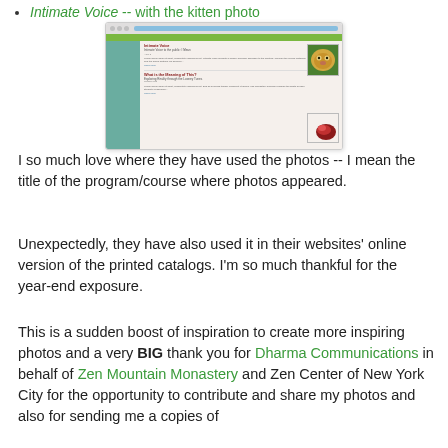Intimate Voice -- with the kitten photo
[Figure (screenshot): Screenshot of a website showing blog posts with a kitten photo and a red/dark image, with a teal sidebar and browser chrome]
I so much love where they have used the photos -- I mean the title of the program/course where photos appeared.
Unexpectedly, they have also used it in their websites' online version of the printed catalogs. I'm so much thankful for the year-end exposure.
This is a sudden boost of inspiration to create more inspiring photos and a very BIG thank you for Dharma Communications in behalf of Zen Mountain Monastery and Zen Center of New York City for the opportunity to contribute and share my photos and also for sending me a copies of